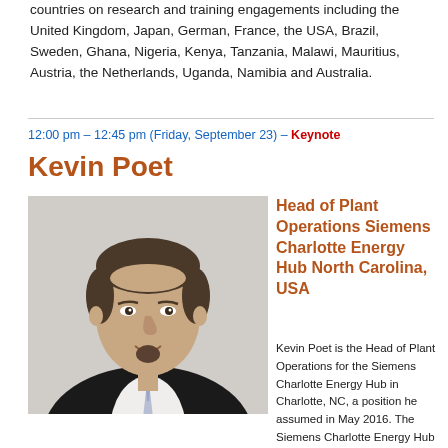countries on research and training engagements including the United Kingdom, Japan, German, France, the USA, Brazil, Sweden, Ghana, Nigeria, Kenya, Tanzania, Malawi, Mauritius, Austria, the Netherlands, Uganda, Namibia and Australia.
12:00 pm – 12:45 pm (Friday, September 23) – Keynote
Kevin Poet
[Figure (photo): Professional headshot of Kevin Poet, a middle-aged man in a dark suit with a light blue tie, smiling, with a light background.]
Head of Plant Operations Siemens Charlotte Energy Hub North Carolina, USA
Kevin Poet is the Head of Plant Operations for the Siemens Charlotte Energy Hub in Charlotte, NC, a position he assumed in May 2016. The Siemens Charlotte Energy Hub is the company's global location for 60Hz fossil power